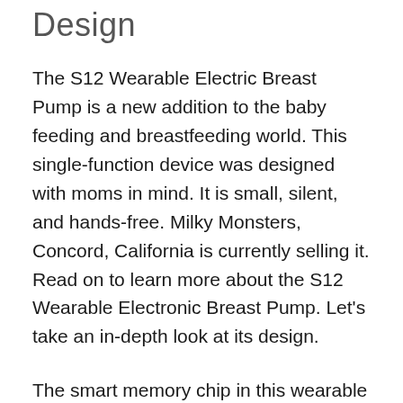Design
The S12 Wearable Electric Breast Pump is a new addition to the baby feeding and breastfeeding world. This single-function device was designed with moms in mind. It is small, silent, and hands-free. Milky Monsters, Concord, California is currently selling it. Read on to learn more about the S12 Wearable Electronic Breast Pump. Let’s take an in-depth look at its design.
The smart memory chip in this wearable electric breast pump remembers the settings you have previously set. The breast pump is skin-friendly and free of BPA. It also comes with 2 breastmilk storage bags. It also comes with silicone shields that attach to breasts of different sizes. It operates quietly and has a closed system to prevent milk from flowing back into the pump.